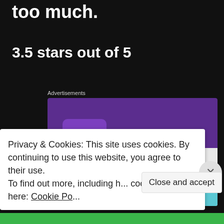too much.
3.5 stars out of 5
Advertisements
[Figure (screenshot): WooCommerce advertisement banner showing the WooCommerce logo on a purple background with teal and light blue decorative shapes, and the beginning of text 'How to start selling']
Privacy & Cookies: This site uses cookies. By continuing to use this website, you agree to their use.
To find out more, including h... cookies, see here: Cookie Po...
Close and accept